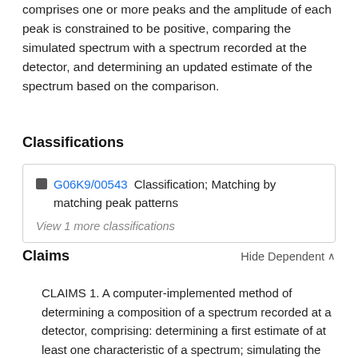comprises one or more peaks and the amplitude of each peak is constrained to be positive, comparing the simulated spectrum with a spectrum recorded at the detector, and determining an updated estimate of the spectrum based on the comparison.
Classifications
G06K9/00543  Classification; Matching by matching peak patterns
View 1 more classifications
Claims
Hide Dependent
CLAIMS 1. A computer-implemented method of determining a composition of a spectrum recorded at a detector, comprising: determining a first estimate of at least one characteristic of a spectrum; simulating the spectrum at a detector based on the first estimate, wherein in said simulation the spectrum comprises one or more peaks and the amplitude of each peak is constrained to